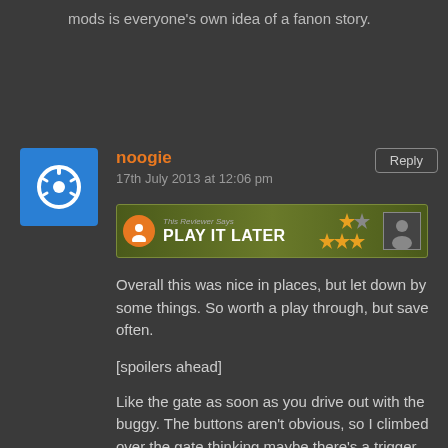mods is everyone's own idea of a fanon story.
noogie
17th July 2013 at 12:06 pm
[Figure (infographic): Reviewer badge saying PLAY IT LATER with 3 stars on a green camouflage background]
Overall this was nice in places, but let down by some things. So worth a play through, but save often.
[spoilers ahead]
Like the gate as soon as you drive out with the buggy. The buttons aren't obvious, so I climbed over the gate thinking maybe there's a trigger somewhere further on – but no,